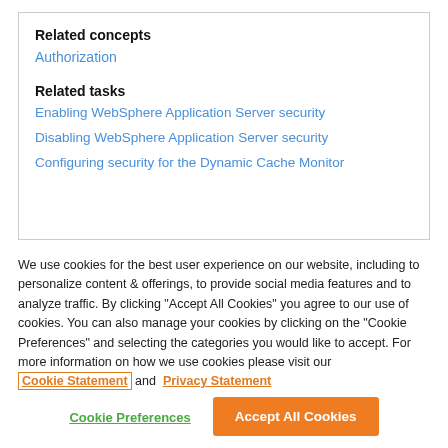Related concepts
Authorization
Related tasks
Enabling WebSphere Application Server security
Disabling WebSphere Application Server security
Configuring security for the Dynamic Cache Monitor
We use cookies for the best user experience on our website, including to personalize content & offerings, to provide social media features and to analyze traffic. By clicking "Accept All Cookies" you agree to our use of cookies. You can also manage your cookies by clicking on the "Cookie Preferences" and selecting the categories you would like to accept. For more information on how we use cookies please visit our Cookie Statement and Privacy Statement
Cookie Preferences
Accept All Cookies